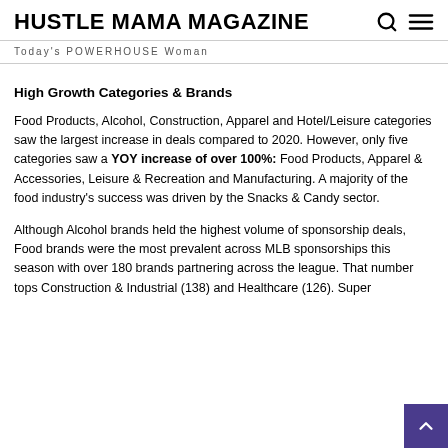HUSTLE MAMA MAGAZINE
Today's POWERHOUSE Woman
High Growth Categories & Brands
Food Products, Alcohol, Construction, Apparel and Hotel/Leisure categories saw the largest increase in deals compared to 2020. However, only five categories saw a YOY increase of over 100%: Food Products, Apparel & Accessories, Leisure & Recreation and Manufacturing. A majority of the food industry's success was driven by the Snacks & Candy sector.
Although Alcohol brands held the highest volume of sponsorship deals, Food brands were the most prevalent across MLB sponsorships this season with over 180 brands partnering across the league. That number tops Construction & Industrial (138) and Healthcare (126). Super